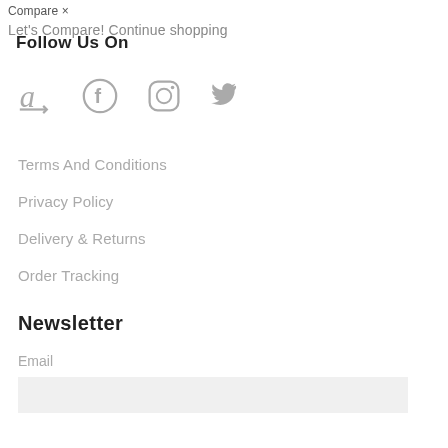Compare ×
Follow Us On
Let's Compare! Continue shopping
[Figure (illustration): Four social media icons in gray: Amazon, Facebook, Instagram, Twitter]
Terms And Conditions
Privacy Policy
Delivery & Returns
Order Tracking
Newsletter
Email